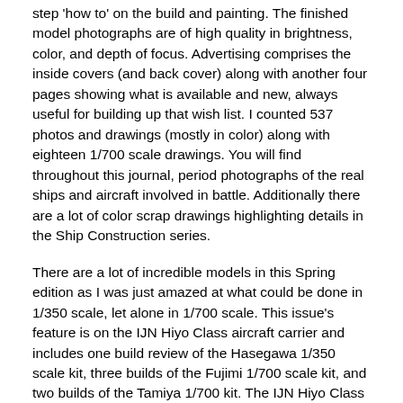step 'how to' on the build and painting. The finished model photographs are of high quality in brightness, color, and depth of focus. Advertising comprises the inside covers (and back cover) along with another four pages showing what is available and new, always useful for building up that wish list. I counted 537 photos and drawings (mostly in color) along with eighteen 1/700 scale drawings. You will find throughout this journal, period photographs of the real ships and aircraft involved in battle. Additionally there are a lot of color scrap drawings highlighting details in the Ship Construction series.
There are a lot of incredible models in this Spring edition as I was just amazed at what could be done in 1/350 scale, let alone in 1/700 scale. This issue's feature is on the IJN Hiyo Class aircraft carrier and includes one build review of the Hasegawa 1/350 scale kit, three builds of the Fujimi 1/700 scale kit, and two builds of the Tamiya 1/700 kit. The IJN Hiyo Class aircraft carriers consisted of two ships, the Hiyo and the Junyo. Both were originally envisioned as luxury passenger liners but were acquired by the IJN for conversion in 1941. IJN Junyo was actually completed first and participated in the Aleutian Islands. Both ships saw plenty of action. IJN Hiyo sank in June 1943 from a torpedo hit. The Junyo was torpedoed in December 1944 and was under repair when the war